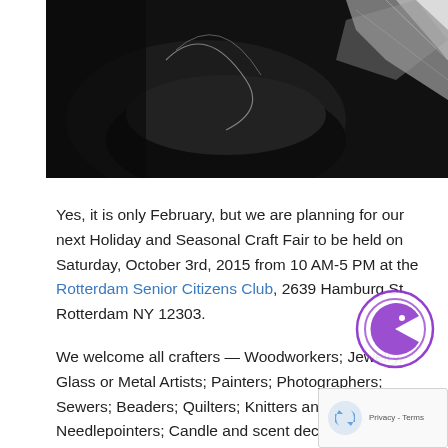[Figure (photo): Black and white close-up photograph of craft/jewelry items, showing what appears to be metallic or fabric elements in a dark background]
Yes, it is only February, but we are planning for our next Holiday and Seasonal Craft Fair to be held on Saturday, October 3rd, 2015 from 10 AM-5 PM at the Rotterdam Senior Citizens Club, 2639 Hamburg St, Rotterdam NY 12303.
We welcome all crafters — Woodworkers; Jewelry, Glass or Metal Artists; Painters; Photographers; Sewers; Beaders; Quilters; Knitters and Cro... Needlepointers; Candle and scent decor; Flo... Designers; Ceramics; Sign makers; Holiday decorations; Soap Makers; etc. — to add us to th... Fall 2014 schedule and to reserve spaces early